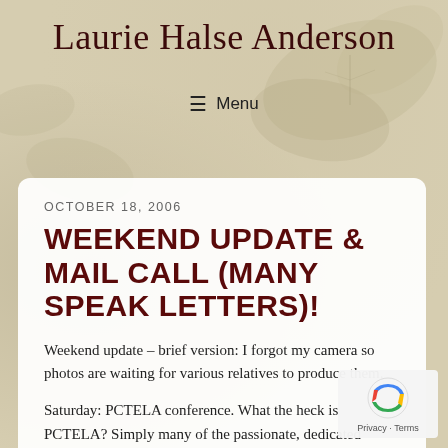Laurie Halse Anderson
≡  Menu
OCTOBER 18, 2006
WEEKEND UPDATE & MAIL CALL (MANY SPEAK LETTERS)!
Weekend update – brief version: I forgot my camera so photos are waiting for various relatives to produce them.
Saturday: PCTELA conference. What the heck is PCTELA? Simply many of the passionate, dedicated English teachers of Pennsylvania gathered in one place at